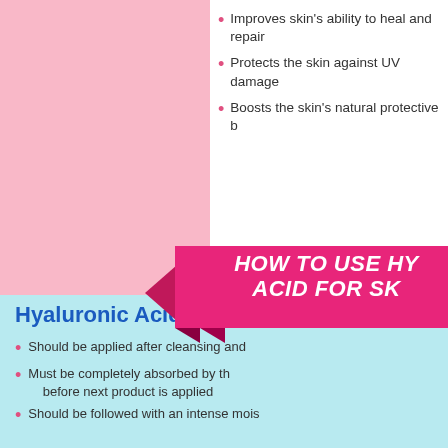Improves skin's ability to heal and repair
Protects the skin against UV damage
Boosts the skin's natural protective b...
[Figure (infographic): Pink ribbon banner with text 'HOW TO USE HY... ACID FOR SK...' on a pink-to-light-blue background infographic]
Hyaluronic Acid Serum
Should be applied after cleansing and...
Must be completely absorbed by the... before next product is applied
Should be followed with an intense mois...